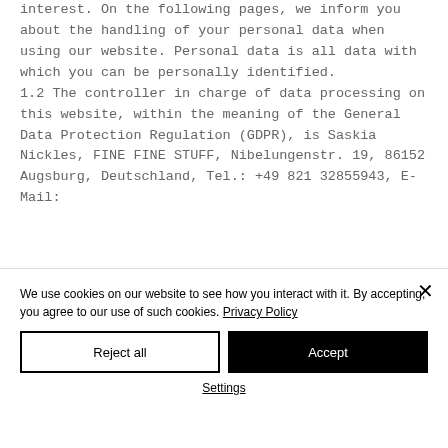interest. On the following pages, we inform you about the handling of your personal data when using our website. Personal data is all data with which you can be personally identified. 1.2 The controller in charge of data processing on this website, within the meaning of the General Data Protection Regulation (GDPR), is Saskia Nickles, FINE FINE STUFF, Nibelungenstr. 19, 86152 Augsburg, Deutschland, Tel.: +49 821 32855943, E-Mail:
We use cookies on our website to see how you interact with it. By accepting, you agree to our use of such cookies. Privacy Policy
Reject all
Accept
Settings